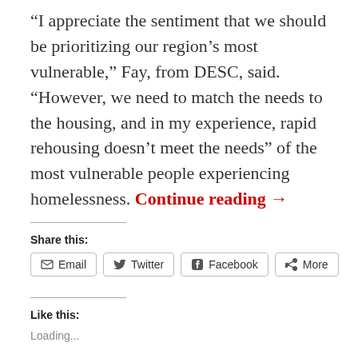“I appreciate the sentiment that we should be prioritizing our region’s most vulnerable,” Fay, from DESC, said. “However, we need to match the needs to the housing, and in my experience, rapid rehousing doesn’t meet the needs” of the most vulnerable people experiencing homelessness. Continue reading →
Share this:
Email  Twitter  Facebook  More
Like this:
Loading...